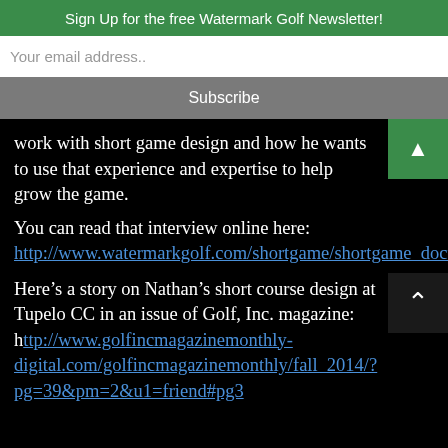Sign Up for the free Watermark Golf Newsletter!
Your email address..
Subscribe
work with short game design and how he wants to use that experience and expertise to help grow the game.
You can read that interview online here: http://www.watermarkgolf.com/shortgame/shortgame_doctor_backspin_march_2014_REPRINT_PDF.pdf
Here’s a story on Nathan’s short course design at Tupelo CC in an issue of Golf, Inc. magazine: http://www.golfincmagazinemonthly-digital.com/golfincmagazinemonthly/fall_2014/?pg=39&pm=2&u1=friend#pg3